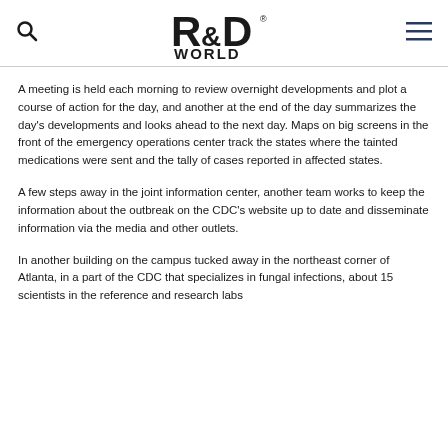R&D WORLD (logo with search and menu icons)
A meeting is held each morning to review overnight developments and plot a course of action for the day, and another at the end of the day summarizes the day's developments and looks ahead to the next day. Maps on big screens in the front of the emergency operations center track the states where the tainted medications were sent and the tally of cases reported in affected states.
A few steps away in the joint information center, another team works to keep the information about the outbreak on the CDC's website up to date and disseminate information via the media and other outlets.
In another building on the campus tucked away in the northeast corner of Atlanta, in a part of the CDC that specializes in fungal infections, about 15 scientists in the reference and research labs